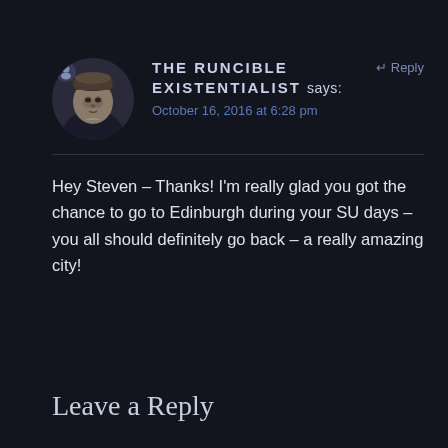[Figure (illustration): Circular avatar portrait of a historical-style figure wearing a cap, in sepia/dark tones]
THE RUNCIBLE EXISTENTIALIST says:
↵ Reply
October 16, 2016 at 6:28 pm
Hey Steven – Thanks! I'm really glad you got the chance to go to Edinburgh during your SU days – you all should definitely go back – a really amazing city!
Leave a Reply